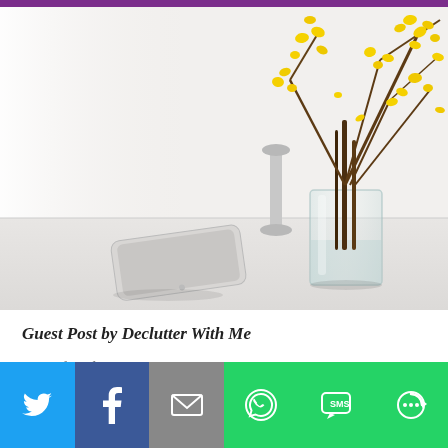[Figure (photo): A minimalist white desk scene with a smartphone lying flat, a glass vase containing yellow forsythia branches, and a soft white curtain in the background. Purple bar visible at the top edge.]
Guest Post by Declutter With Me
I am a fan of minimalist design. I always try to...
[Figure (infographic): Social media share bar with buttons: Twitter (blue bird icon), Facebook (blue F icon), Email (grey envelope icon), WhatsApp (green phone icon), SMS (green speech bubble icon), More (green circular arrow icon)]